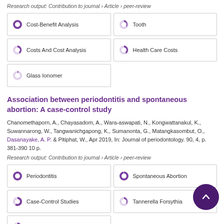Research output: Contribution to journal › Article › peer-review
[Figure (infographic): Keyword badges with donut/pie fill indicators: Cost-Benefit Analysis (100%), Tooth (37%), Costs And Cost Analysis (24%), Health Care Costs (24%), Glass Ionomer (12%)]
Association between periodontitis and spontaneous abortion: A case-control study
Chanomethaporn, A., Chayasadom, A., Wara-aswapati, N., Kongwattanakul, K., Suwannarong, W., Tangwanichgapong, K., Sumanonta, G., Matangkasombut, O., Dasanayake, A. P. & Pitiphat, W., Apr 2019, In: Journal of periodontology. 90, 4, p. 381-390 10 p.
Research output: Contribution to journal › Article › peer-review
[Figure (infographic): Keyword badges with donut/pie fill indicators: Periodontitis (100%), Spontaneous Abortion (95%), Case-Control Studies (80%), Tannerella Forsythia (37%), Bacteria (24%)]